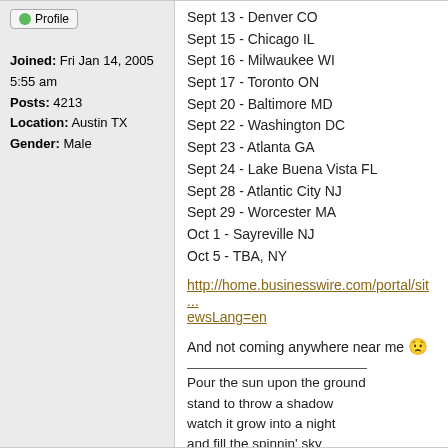Profile
Joined: Fri Jan 14, 2005 5:55 am
Posts: 4213
Location: Austin TX
Gender: Male
Sept 13 - Denver CO
Sept 15 - Chicago IL
Sept 16 - Milwaukee WI
Sept 17 - Toronto ON
Sept 20 - Baltimore MD
Sept 22 - Washington DC
Sept 23 - Atlanta GA
Sept 24 - Lake Buena Vista FL
Sept 28 - Atlantic City NJ
Sept 29 - Worcester MA
Oct 1 - Sayreville NJ
Oct 5 - TBA, NY
http://home.businesswire.com/portal/sit ... ewsLang=en
And not coming anywhere near me 😟
Pour the sun upon the ground
stand to throw a shadow
watch it grow into a night
and fill the spinnin' sky